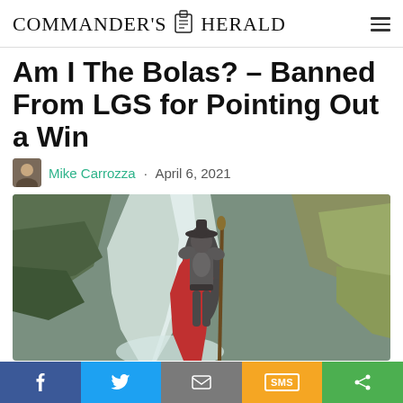Commander's Herald
Am I The Bolas? - Banned From LGS for Pointing Out a Win
Mike Carrozza · April 6, 2021
[Figure (photo): Fantasy armored figure with red cape holding a staff, standing before a waterfall between rocky cliffs]
Social share bar: Facebook, Twitter, Email, SMS, Share